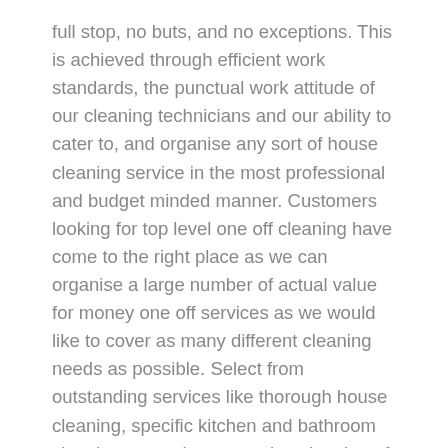full stop, no buts, and no exceptions. This is achieved through efficient work standards, the punctual work attitude of our cleaning technicians and our ability to cater to, and organise any sort of house cleaning service in the most professional and budget minded manner. Customers looking for top level one off cleaning have come to the right place as we can organise a large number of actual value for money one off services as we would like to cover as many different cleaning needs as possible. Select from outstanding services like thorough house cleaning, specific kitchen and bathroom cleaning, top to bottom spring cleaning of the entire property and many more.
Regular residential cleaning is yet another of our special services, the fixed schedule cleaning is genuine value for money and excellent results each time. Domestic Cleaning Fazakerley L9, L10 works closely with people renting in the area as we can arrange for arguably the most cost effective and comprehensive end of tenancy cleaning. Other special purpose services we